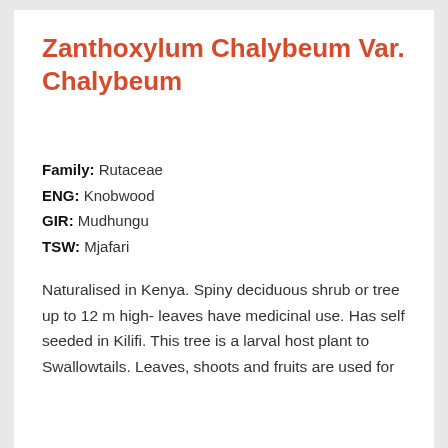Zanthoxylum Chalybeum Var. Chalybeum
Family: Rutaceae
ENG: Knobwood
GIR: Mudhungu
TSW: Mjafari
Naturalised in Kenya. Spiny deciduous shrub or tree up to 12 m high- leaves have medicinal use. Has self seeded in Kilifi. This tree is a larval host plant to Swallowtails. Leaves, shoots and fruits are used for